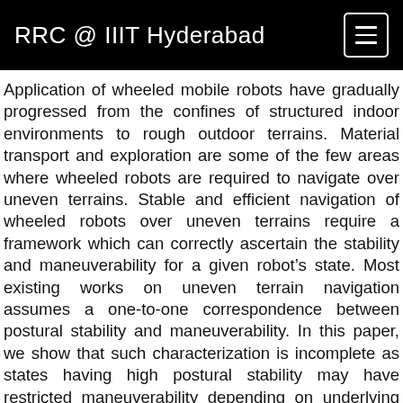RRC @ IIIT Hyderabad
Application of wheeled mobile robots have gradually progressed from the confines of structured indoor environments to rough outdoor terrains. Material transport and exploration are some of the few areas where wheeled robots are required to navigate over uneven terrains. Stable and efficient navigation of wheeled robots over uneven terrains require a framework which can correctly ascertain the stability and maneuverability for a given robot’s state. Most existing works on uneven terrain navigation assumes a one-to-one correspondence between postural stability and maneuverability. In this paper, we show that such characterization is incomplete as states having high postural stability may have restricted maneuverability depending on underlying terrain topology. We thus, present a novel metric called Feasible Acceleration Count (FAC), introduced in our